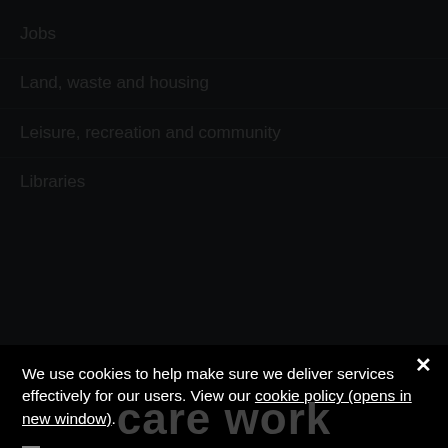Jobs
Land, waste and housing
Leisure, recreation and community
Libraries
We use cookies to help make sure we deliver services effectively for our users. View our cookie policy (opens in new window).
Necessary cookies
Performance cookies
Marketing cookies
OK